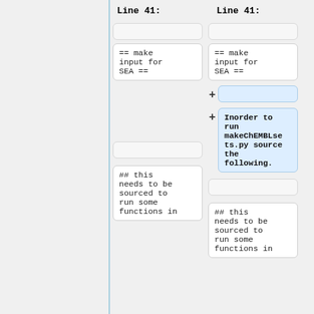Line 41:   Line 41:
[Figure (screenshot): Diff view showing two columns side by side (Line 41), with code cells. Left column shows: empty cell, '== make input for SEA ==', empty cell, '## this needs to be sourced to run some functions in'. Right column shows: empty cell, '== make input for SEA ==', two new added lines (empty added cell and 'Inorder to run makeChEMBLsets.py source the following.' highlighted in blue), empty cell, '## this needs to be sourced to run some functions in'.]